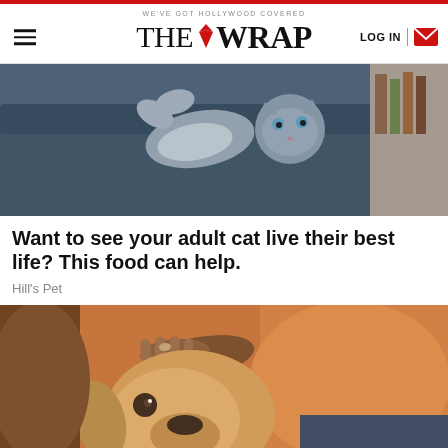WE'VE GOT HOLLYWOOD COVERED — THE WRAP
[Figure (photo): Gray cat lying on its back on a dark blue sofa, looking upward with paws raised]
Want to see your adult cat live their best life? This food can help.
Hill's Pet
[Figure (photo): Golden Labrador dog being petted on the head by a person wearing an orange shirt]